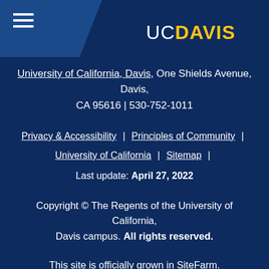[Figure (logo): UC Davis logo with hamburger menu icon in top left and UC Davis wordmark in gold/white in top right]
University of California, Davis, One Shields Avenue, Davis, CA 95616 | 530-752-1011
Privacy & Accessibility | Principles of Community | University of California | Sitemap | Last update: April 27, 2022
Copyright © The Regents of the University of California, Davis campus. All rights reserved.
This site is officially grown in SiteFarm.